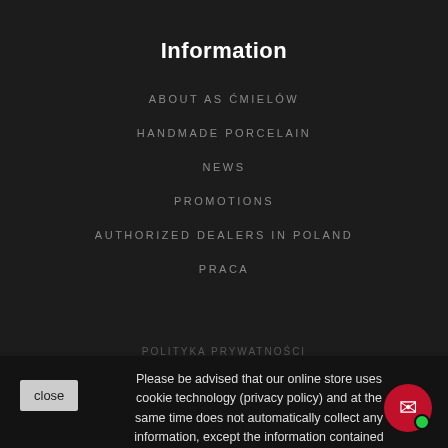Information
ABOUT AS ĆMIELÓW
HANDMADE PORCELAIN
NEWS
PROMOTIONS
AUTHORIZED DEALERS IN POLAND
PRACA
POLITYKA PRYWATNOŚCI
Please be advised that our online store uses cookie technology (privacy policy) and at the same time does not automatically collect any information, except the information contained in these files (so-called "cookies").
SITEMAP